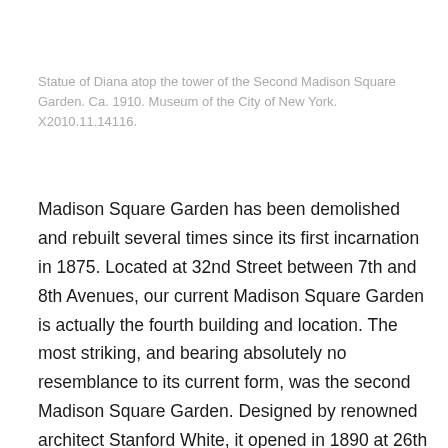Statue of Diana atop the tower of the Second Madison Square Garden. Ca. 1910. Museum of the City of New York. X2010.11.14116.
Madison Square Garden has been demolished and rebuilt several times since its first incarnation in 1875. Located at 32nd Street between 7th and 8th Avenues, our current Madison Square Garden is actually the fourth building and location. The most striking, and bearing absolutely no resemblance to its current form, was the second Madison Square Garden. Designed by renowned architect Stanford White, it opened in 1890 at 26th Street and Madison Avenue. This was the last Madison Square Garden to be located on Madison Square Park.